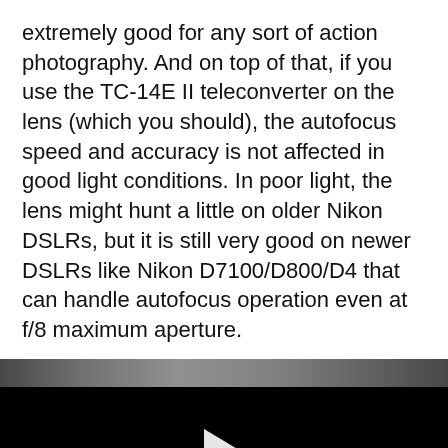extremely good for any sort of action photography. And on top of that, if you use the TC-14E II teleconverter on the lens (which you should), the autofocus speed and accuracy is not affected in good light conditions. In poor light, the lens might hunt a little on older Nikon DSLRs, but it is still very good on newer DSLRs like Nikon D7100/D800/D4 that can handle autofocus operation even at f/8 maximum aperture.
[Figure (screenshot): Embedded video player with black background and a white play button triangle in the center, with a gray/dark thumbnail strip at the top.]